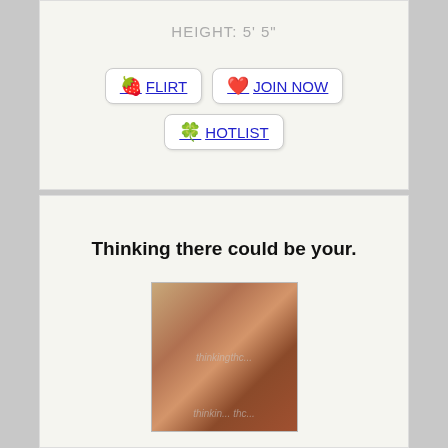HEIGHT: 5' 5"
🍓 FLIRT  ❤️ JOIN NOW  🍀 HOTLIST
Thinking there could be your.
[Figure (photo): Photo of a woman with long brown hair wearing a red bikini top, outdoors with greenery in background. Watermark text overlaid on the image.]